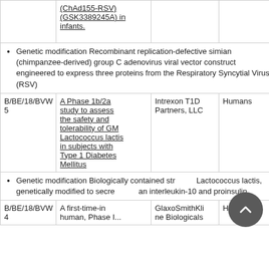|  |  |  |  |
| --- | --- | --- | --- |
|  | (ChAd155-RSV) (GSK3389245A) in infants. |  |  |
| [bullet] Genetic modification Recombinant replication-defective simian (chimpanzee-derived) group C adenovirus viral vector construct engineered to express three proteins from the Respiratory Syncytial Virus (RSV) |  |  |  |
| B/BE/18/BVW5 | A Phase 1b/2a study to assess the safety and tolerability of GM Lactococcus lactis in subjects with Type 1 Diabetes Mellitus | Intrexon T1D Partners, LLC | Humans |
| [bullet] Genetic modification Biologically contained str... Lactococcus lactis, genetically modified to secre...an interleukin-10 and proinsulin |  |  |  |
| B/BE/18/BVW4 | A first-time-in human, Phase I... | GlaxoSmithKline Biologicals | Humans |